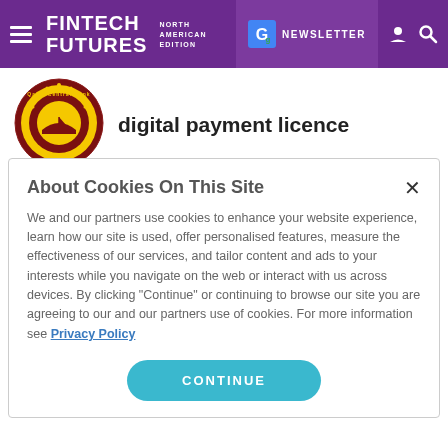FINTECH FUTURES NORTH AMERICAN EDITION | NEWSLETTER
[Figure (logo): Qatar Central Bank circular logo with maroon border and yellow center]
digital payment licence
About Cookies On This Site
We and our partners use cookies to enhance your website experience, learn how our site is used, offer personalised features, measure the effectiveness of our services, and tailor content and ads to your interests while you navigate on the web or interact with us across devices. By clicking "Continue" or continuing to browse our site you are agreeing to our and our partners use of cookies. For more information see Privacy Policy